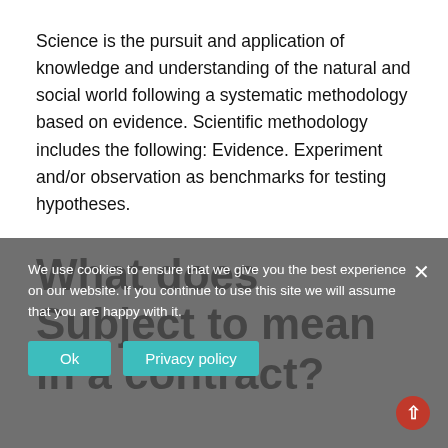Science is the pursuit and application of knowledge and understanding of the natural and social world following a systematic methodology based on evidence. Scientific methodology includes the following: Evidence. Experiment and/or observation as benchmarks for testing hypotheses.
What does Subject to mean in a contract?
We use cookies to ensure that we give you the best experience on our website. If you continue to use this site we will assume that you are happy with it.